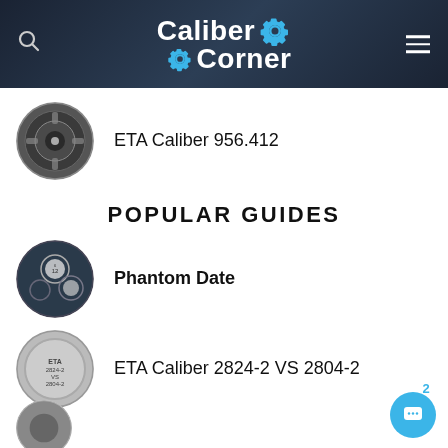Caliber Corner
ETA Caliber 956.412
POPULAR GUIDES
Phantom Date
ETA Caliber 2824-2 VS 2804-2